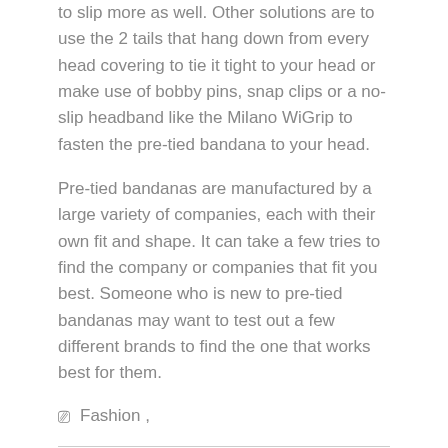to slip more as well. Other solutions are to use the 2 tails that hang down from every head covering to tie it tight to your head or make use of bobby pins, snap clips or a no-slip headband like the Milano WiGrip to fasten the pre-tied bandana to your head.
Pre-tied bandanas are manufactured by a large variety of companies, each with their own fit and shape. It can take a few tries to find the company or companies that fit you best. Someone who is new to pre-tied bandanas may want to test out a few different brands to find the one that works best for them.
Fashion,
PREVIOUS POST
Shopping In Dubai